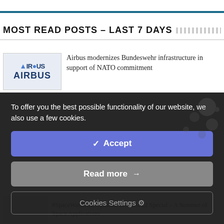MOST READ POSTS – LAST 7 DAYS
[Figure (logo): Airbus logo thumbnail (blue letters AIRBUS with dotted A characters)]
Airbus modernizes Bundeswehr infrastructure in support of NATO commitment
To offer you the best possible functionality of our website, we also use a few cookies.
✔ Accept
Read more →
Cookies Settings ⚙
#SpaceWatchGL Opinion: ISO SSP22 Special – A Summer of Space Applications